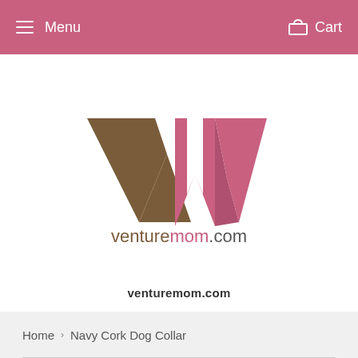Menu   Cart
[Figure (logo): VentureMom.com logo with a large brown V and pink M letterform above the text 'venturemom.com']
venturemom.com
Home › Navy Cork Dog Collar